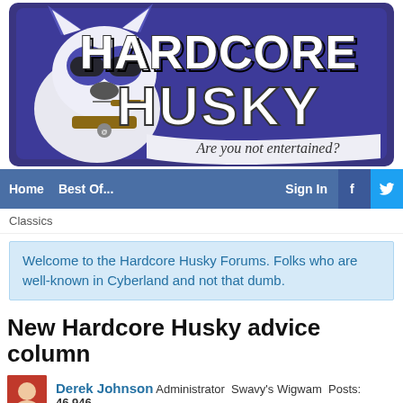[Figure (logo): Hardcore Husky logo: cartoon husky wearing a collar and sunglasses with text 'HARDCORE HUSKY' and tagline 'Are you not entertained?']
Home  Best Of...  Sign In  f  (Twitter bird)
Classics
Welcome to the Hardcore Husky Forums. Folks who are well-known in Cyberland and not that dumb.
New Hardcore Husky advice column
Derek Johnson  Administrator  Swavy's Wigwam  Posts: 46,946